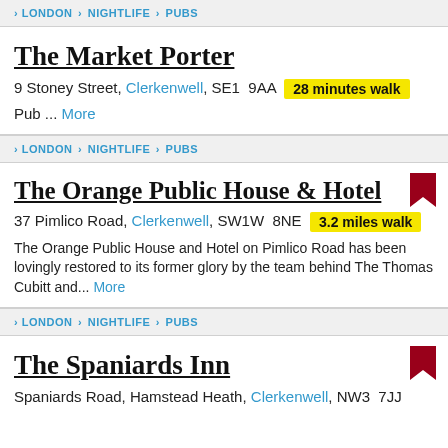LONDON > NIGHTLIFE > PUBS
The Market Porter
9 Stoney Street, Clerkenwell, SE1 9AA  28 minutes walk
Pub ...  More
LONDON > NIGHTLIFE > PUBS
The Orange Public House & Hotel
37 Pimlico Road, Clerkenwell, SW1W 8NE  3.2 miles walk
The Orange Public House and Hotel on Pimlico Road has been lovingly restored to its former glory by the team behind The Thomas Cubitt and...  More
LONDON > NIGHTLIFE > PUBS
The Spaniards Inn
Spaniards Road, Hamstead Heath,  Clerkenwell, NW3 7JJ